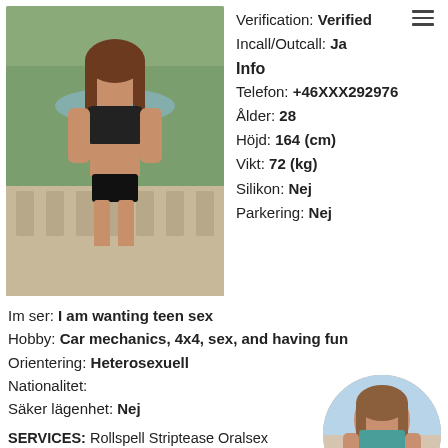[Figure (photo): Young woman in black lingerie set standing outdoors near stone balustrade with park/fountain background]
Verification: Verified
Incall/Outcall: Ja
Info
Telefon: +46XXX292976
Ålder: 28
Höjd: 164 (cm)
Vikt: 72 (kg)
Silikon: Nej
Parkering: Nej
Im ser: I am wanting teen sex
Hobby: Car mechanics, 4x4, sex, and having fun
Orientering: Heterosexuell
Nationalitet:
Säker lägenhet: Nej
SERVICES: Rollspell Striptease Oralsex (OWO) Lätt dominant Hard dominant Unifo... on Sexleksaker Fetischer Erfarenhet av flickvän (GFE)
[Figure (photo): Circular thumbnail photo of woman from behind in teal top and denim shorts]